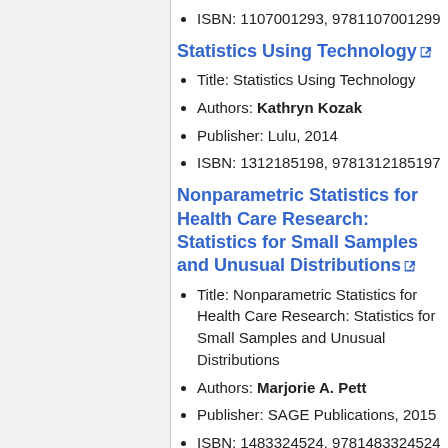ISBN: 1107001293, 9781107001299
Statistics Using Technology
Title: Statistics Using Technology
Authors: Kathryn Kozak
Publisher: Lulu, 2014
ISBN: 1312185198, 9781312185197
Nonparametric Statistics for Health Care Research: Statistics for Small Samples and Unusual Distributions
Title: Nonparametric Statistics for Health Care Research: Statistics for Small Samples and Unusual Distributions
Authors: Marjorie A. Pett
Publisher: SAGE Publications, 2015
ISBN: 1483324524, 9781483324524